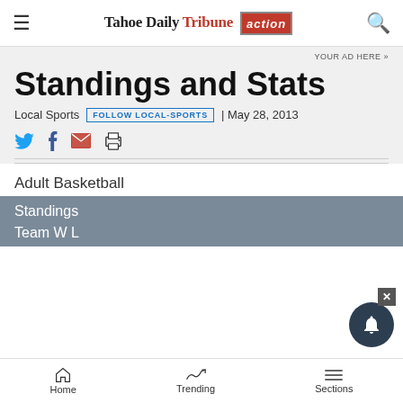Tahoe Daily Tribune action
YOUR AD HERE »
Standings and Stats
Local Sports | FOLLOW LOCAL-SPORTS | May 28, 2013
Adult Basketball
Standings
Team W L
Home  Trending  Sections